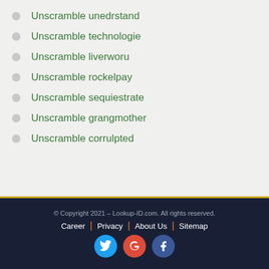Unscramble unedrstand
Unscramble technologie
Unscramble liverworu
Unscramble rockelpay
Unscramble sequiestrate
Unscramble grangmother
Unscramble corrulpted
© Copyright 2021 – Lookup-ID.com. All rights reserved. Career | Privacy | About Us | Sitemap